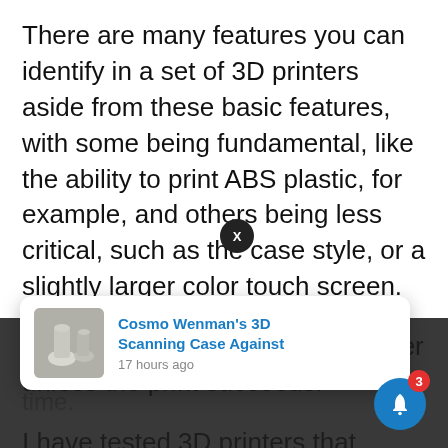There are many features you can identify in a set of 3D printers aside from these basic features, with some being fundamental, like the ability to print ABS plastic, for example, and others being less critical, such as the case style, or a slightly larger color touch screen.
But none of these ultimately matter unless the print succeeds.
I have tested 3D printers that seemingly fail for [obscured] also tested [obscured] almost [obscured] time.
[Figure (screenshot): A browser notification popup showing 'Cosmo Wenman's 3D Scanning Case Against' posted 17 hours ago, with a thumbnail image of 3D printed objects. Overlaid on a dark bottom bar. An X close button and a blue bell icon with badge showing 3 are also visible.]